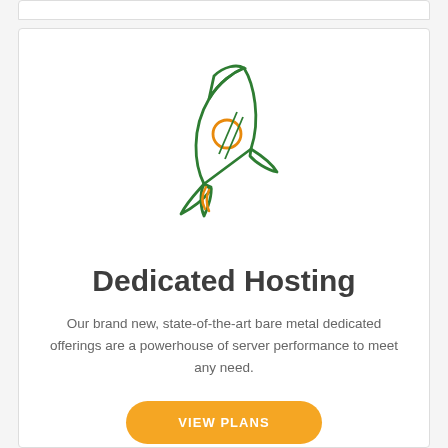[Figure (illustration): Line-art rocket ship icon with green outlines and orange circle porthole and orange flame accent, pointing upper-right]
Dedicated Hosting
Our brand new, state-of-the-art bare metal dedicated offerings are a powerhouse of server performance to meet any need.
VIEW PLANS